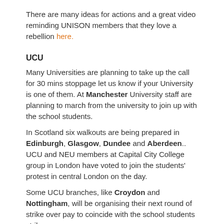There are many ideas for actions and a great video reminding UNISON members that they love a rebellion here.
UCU
Many Universities are planning to take up the call for 30 mins stoppage let us know if your University is one of them. At Manchester University staff are planning to march from the university to join up with the school students.
In Scotland six walkouts are being prepared in Edinburgh, Glasgow, Dundee and Aberdeen.. UCU and NEU members at Capital City College group in London have voted to join the students' protest in central London on the day.
Some UCU branches, like Croydon and Nottingham, will be organising their next round of strike over pay to coincide with the school students strikes.